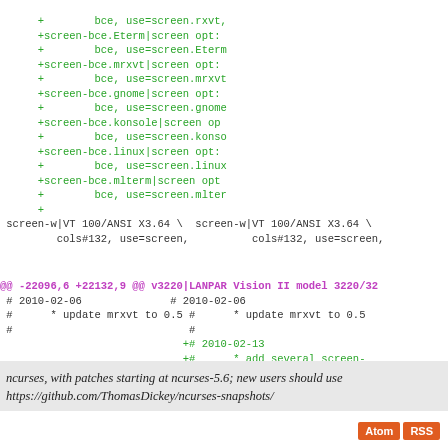Code diff block showing additions to screen-bce terminal entries and context lines for screen-w|VT 100/ANSI X3.64 and changes around line 22096/22132
@@ -22096,6 +22132,9 @@ v3220|LANPAR Vision II model 3220/32...
# 2010-02-06  # 2010-02-06
#  * update mrxvt to 0.5  #  * update mrxvt to 0.5
#  #
+# 2010-02-13
+#  * add several screen-
+#
# The following sets edit mo  # The following sets edit mo
# Local Variables:  # Local Variables:
# fill-prefix:"\t"  # fill-prefix:"\t"
ncurses, with patches starting at ncurses-5.6; new users should use https://github.com/ThomasDickey/ncurses-snapshots/